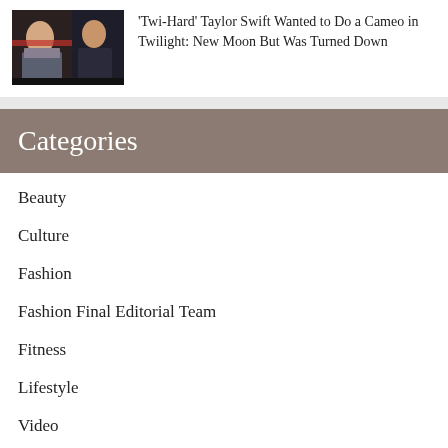[Figure (photo): Two people sitting in a car, dark interior, shot at night]
'Twi-Hard' Taylor Swift Wanted to Do a Cameo in Twilight: New Moon But Was Turned Down
Categories
Beauty
Culture
Fashion
Fashion Final Editorial Team
Fitness
Lifestyle
Video